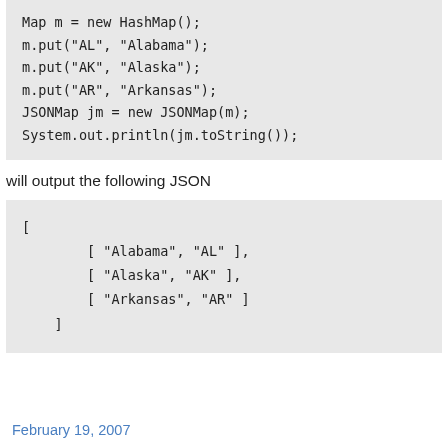Map m = new HashMap();
m.put("AL", "Alabama");
m.put("AK", "Alaska");
m.put("AR", "Arkansas");
JSONMap jm = new JSONMap(m);
System.out.println(jm.toString());
will output the following JSON
[
    [ "Alabama", "AL" ],
    [ "Alaska", "AK" ],
    [ "Arkansas", "AR" ]
]
February 19, 2007